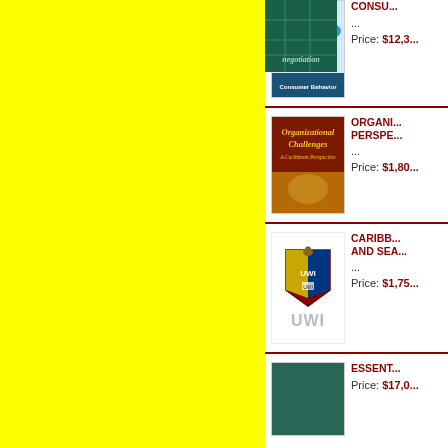[Figure (illustration): Yellow background panel on left half of page]
[Figure (photo): Consumer Behavior book cover with colorful umbrellas]
...
Price: $12,3...
[Figure (photo): Organizational Challenges: A Caribbean Perspective book cover, dark red/brown with golden text]
ORGANIZATIONAL CHALLENGES PERSPECTIVE...
...
Price: $1,80...
[Figure (logo): UWI crest/logo with pelican and shield, text UWI below]
CARIBB... AND SEA...
...
Price: $1,75...
[Figure (photo): Negotiation book cover, teal/green color]
ESSENT...
Price: $17,0...